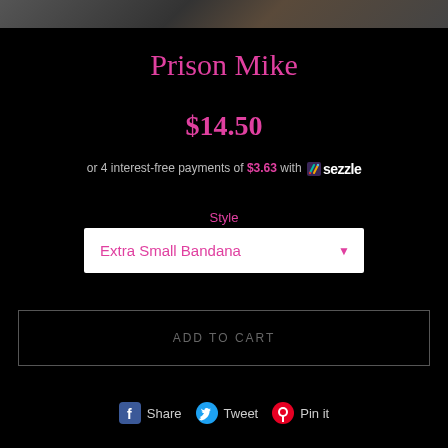[Figure (photo): Photo strip at top of product page, dark image]
Prison Mike
$14.50
or 4 interest-free payments of $3.63 with Sezzle
Style
Extra Small Bandana
ADD TO CART
Share  Tweet  Pin it